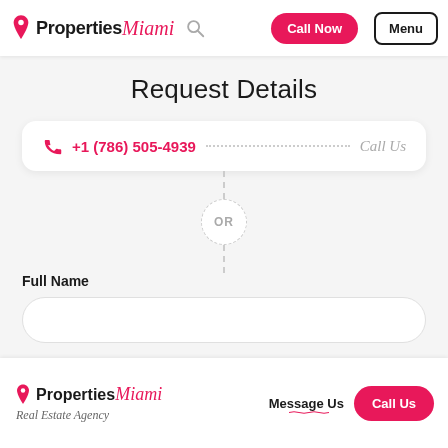Properties Miami
Request Details
+1 (786) 505-4939 ........... Call Us
OR
Full Name
Phone
Properties Miami Real Estate Agency | Message Us | Call Us